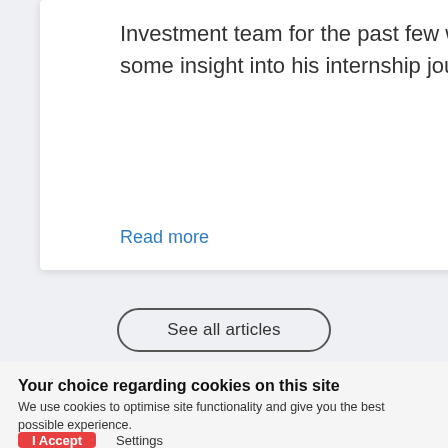Investment team for the past few weeks and provided us with some insight into his internship jour...
Read more
See all articles
Your choice regarding cookies on this site
We use cookies to optimise site functionality and give you the best possible experience.
I Accept
Settings